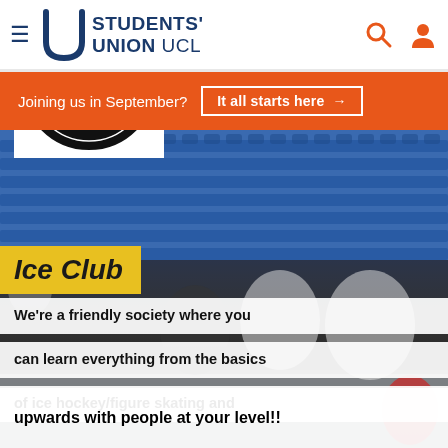Students' Union UCL
Joining us in September? It all starts here →
[Figure (logo): University College London Ice Club circular logo, EST. 2006]
[Figure (photo): Group of ice hockey players in white and purple jerseys posing on ice rink with blue stadium seats in background]
Ice Club
We're a friendly society where you can learn everything from the basics of ice hockey/figure skating and upwards with people at your level!!